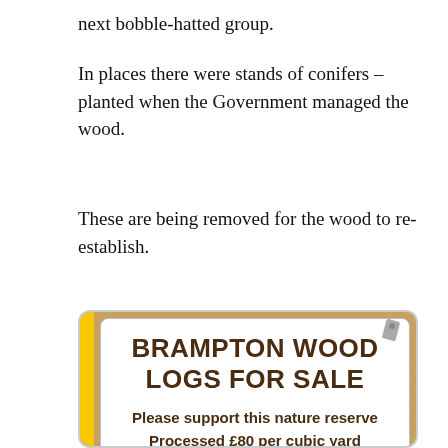next bobble-hatted group.
In places there were stands of conifers – planted when the Government managed the wood.
These are being removed for the wood to re-establish.
[Figure (photo): A sign on a corkboard reading 'BRAMPTON WOOD LOGS FOR SALE — Please support this nature reserve — Processed £80 per cubic yard']